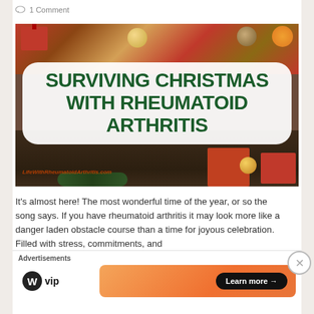1 Comment
[Figure (photo): Christmas gifts and decorations background with white rounded banner overlay reading 'SURVIVING CHRISTMAS WITH RHEUMATOID ARTHRITIS' in bold dark green text, with a website logo watermark in the lower left corner.]
It's almost here! The most wonderful time of the year, or so the song says. If you have rheumatoid arthritis it may look more like a danger laden obstacle course than a time for joyous celebration. Filled with stress, commitments, and
[Figure (logo): WordPress VIP logo with 'Learn more →' button on orange gradient background advertisement bar at bottom of page, labeled 'Advertisements']